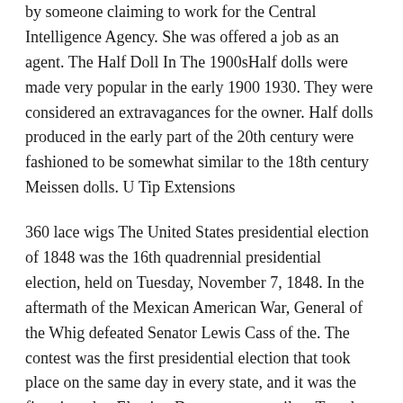by someone claiming to work for the Central Intelligence Agency. She was offered a job as an agent. The Half Doll In The 1900sHalf dolls were made very popular in the early 1900 1930. They were considered an extravagances for the owner. Half dolls produced in the early part of the 20th century were fashioned to be somewhat similar to the 18th century Meissen dolls. U Tip Extensions
360 lace wigs The United States presidential election of 1848 was the 16th quadrennial presidential election, held on Tuesday, November 7, 1848. In the aftermath of the Mexican American War, General of the Whig defeated Senator Lewis Cass of the. The contest was the first presidential election that took place on the same day in every state, and it was the first time that Election Day was statutorily a Tuesday.[2]. 360 lace wigs
U Tip Extensions I take cues from our society to an